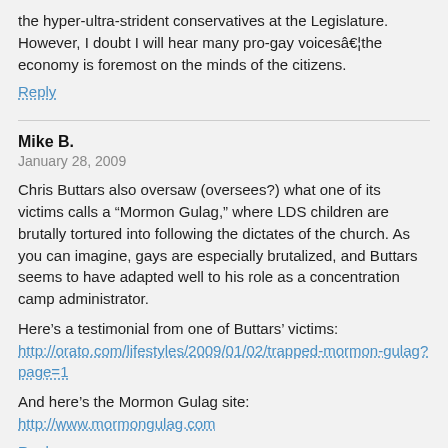the hyper-ultra-strident conservatives at the Legislature. However, I doubt I will hear many pro-gay voicesâ€¦the economy is foremost on the minds of the citizens.
Reply
Mike B.
January 28, 2009
Chris Buttars also oversaw (oversees?) what one of its victims calls a “Mormon Gulag,” where LDS children are brutally tortured into following the dictates of the church. As you can imagine, gays are especially brutalized, and Buttars seems to have adapted well to his role as a concentration camp administrator.
Here’s a testimonial from one of Buttars’ victims: http://orato.com/lifestyles/2009/01/02/trapped-mormon-gulag?page=1
And here’s the Mormon Gulag site: http://www.mormongulag.com
Reply
Sapphocrat